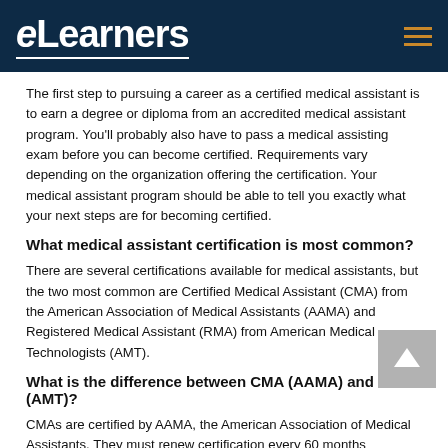eLearners
The first step to pursuing a career as a certified medical assistant is to earn a degree or diploma from an accredited medical assistant program. You'll probably also have to pass a medical assisting exam before you can become certified. Requirements vary depending on the organization offering the certification. Your medical assistant program should be able to tell you exactly what your next steps are for becoming certified.
What medical assistant certification is most common?
There are several certifications available for medical assistants, but the two most common are Certified Medical Assistant (CMA) from the American Association of Medical Assistants (AAMA) and Registered Medical Assistant (RMA) from American Medical Technologists (AMT).
What is the difference between CMA (AAMA) and RMA (AMT)?
CMAs are certified by AAMA, the American Association of Medical Assistants. They must renew certification every 60 months...